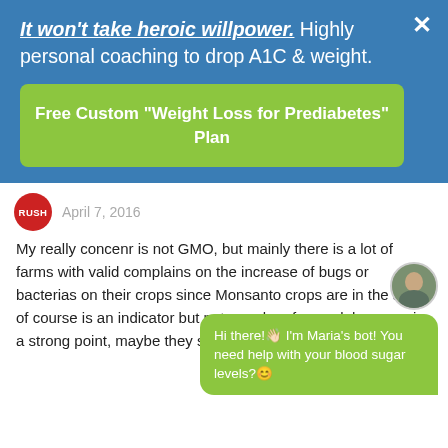It won't take heroic willpower. Highly personal coaching to drop A1C & weight.
Free Custom "Weight Loss for Prediabetes" Plan
April 7, 2016
My really concenr is not GMO, but mainly there is a lot of farms with valid complains on the increase of bugs or bacterias on their crops since Monsanto crops are in the area, of course is an indicator but not a probe of causal, however is a strong point, maybe they should clear that in a valid level.
After all G... monsanto company has earn bad
Hi there!👋🏻 I'm Maria's bot! You need help with your blood sugar levels?😊